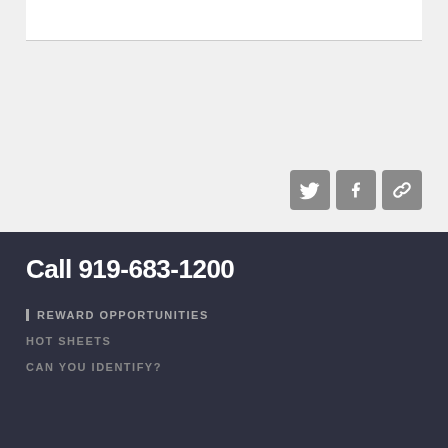[Figure (other): Social media share icons: Twitter bird icon, Facebook F icon, and a link/chain icon, displayed as grey rounded square buttons]
Call 919-683-1200
REWARD OPPORTUNITIES
HOT SHEETS
CAN YOU IDENTIFY?